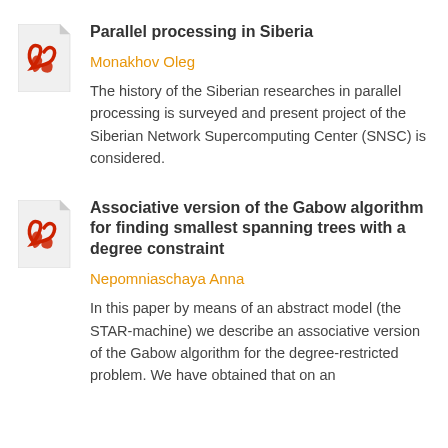[Figure (logo): PDF file icon with red Acrobat-style symbol]
Parallel processing in Siberia
Monakhov Oleg
The history of the Siberian researches in parallel processing is surveyed and present project of the Siberian Network Supercomputing Center (SNSC) is considered.
[Figure (logo): PDF file icon with red Acrobat-style symbol]
Associative version of the Gabow algorithm for finding smallest spanning trees with a degree constraint
Nepomнiaschaya Anna
In this paper by means of an abstract model (the STAR-machine) we describe an associative version of the Gabow algorithm for the degree-restricted problem. We have obtained that on an